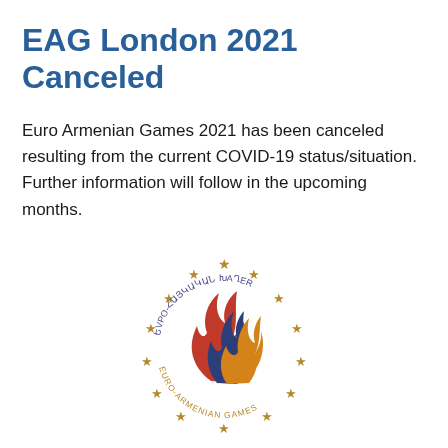EAG London 2021 Canceled
Euro Armenian Games 2021 has been canceled resulting from the current COVID-19 status/situation. Further information will follow in the upcoming months.
[Figure (logo): Euro-Armenian Games circular logo with Armenian text at top, gold stars arranged in a circle, and a flame in red, blue, and orange in the center. Text reading EURO-ARMENIAN GAMES around the bottom arc.]